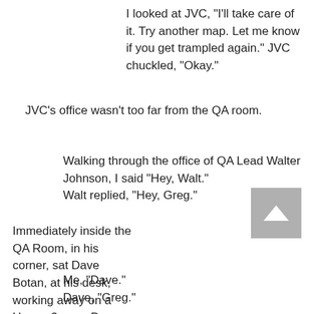I looked at JVC, “I’ll take care of it.  Try another map.  Let me know if you get trampled again.” JVC chuckled, “Okay.”
JVC’s office wasn’t too far from the QA room.
Walking through the office of QA Lead Walter Johnson, I said “Hey, Walt.”
Walt replied, “Hey, Greg.”
Immediately inside the QA Room, in his corner, sat Dave Botan, at his desk, working away on a Heroes3 map.  Dave looked up at me.
Me, “Dave.”
Dave, “Greg.”